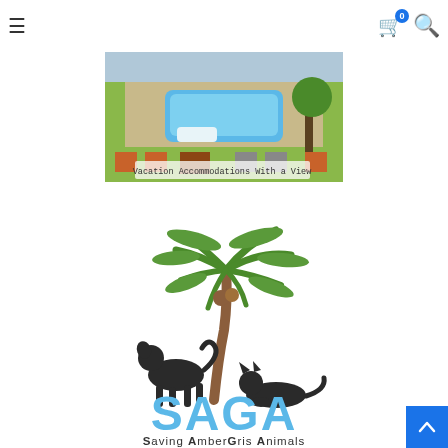Navigation bar with hamburger menu, cart icon (0), and search icon
[Figure (photo): Aerial view of green building with rooftop pool. Text overlay reads: Vacation Accommodations With a View]
[Figure (logo): SAGA - Saving AmberGris Animals logo. Features a palm tree with a dog silhouette on the left and a cat silhouette on the right, with large blue SAGA letters and full name 'Saving AmberGris Animals' below, 'since 1999' at bottom.]